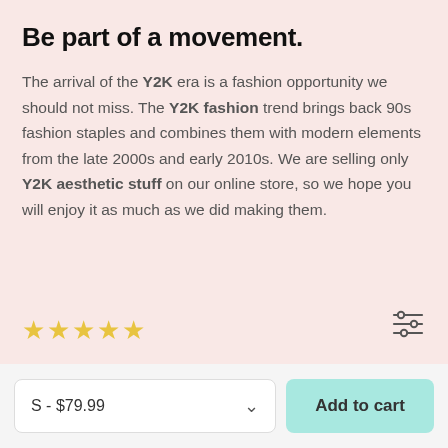Be part of a movement.
The arrival of the Y2K era is a fashion opportunity we should not miss. The Y2K fashion trend brings back 90s fashion staples and combines them with modern elements from the late 2000s and early 2010s. We are selling only Y2K aesthetic stuff on our online store, so we hope you will enjoy it as much as we did making them.
[Figure (other): Five empty star rating icons in gold/yellow outline, indicating a rating widget with no stars filled.]
[Figure (other): A filter/sliders icon with three horizontal lines and adjustment handles, positioned at the bottom right of the pink section.]
S - $79.99
Add to cart